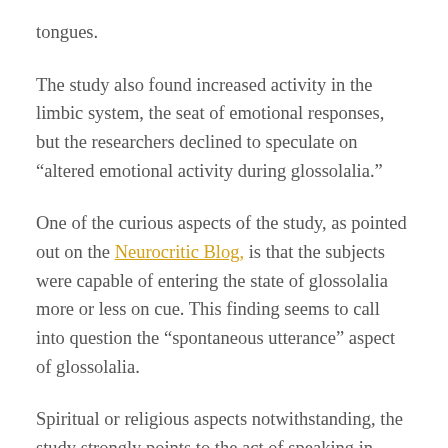tongues.
The study also found increased activity in the limbic system, the seat of emotional responses, but the researchers declined to speculate on “altered emotional activity during glossolalia.”
One of the curious aspects of the study, as pointed out on the Neurocritic Blog, is that the subjects were capable of entering the state of glossolalia more or less on cue. This finding seems to call into question the “spontaneous utterance” aspect of glossolalia.
Spiritual or religious aspects notwithstanding, the study strongly points to the act of speaking in tongues as a